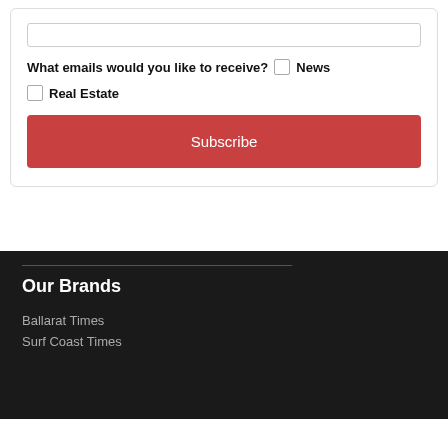What emails would you like to receive? News
Real Estate
Subscribe
Our Brands
Ballarat Times
Surf Coast Times